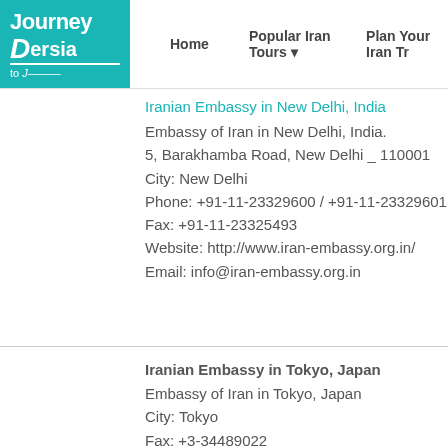Journey to Persia | Home | Popular Iran Tours | Plan Your Iran Tr...
Iranian Embassy in New Delhi, India
Embassy of Iran in New Delhi, India.
5, Barakhamba Road, New Delhi _ 110001
City: New Delhi
Phone: +91-11-23329600 / +91-11-23329601
Fax: +91-11-23325493
Website: http://www.iran-embassy.org.in/
Email: info@iran-embassy.org.in
Iranian Embassy in Tokyo, Japan
Embassy of Iran in Tokyo, Japan
City: Tokyo
Fax: +3-34489022
Website: http://www.iranembassyjp.com/
Email: consular@gol.com